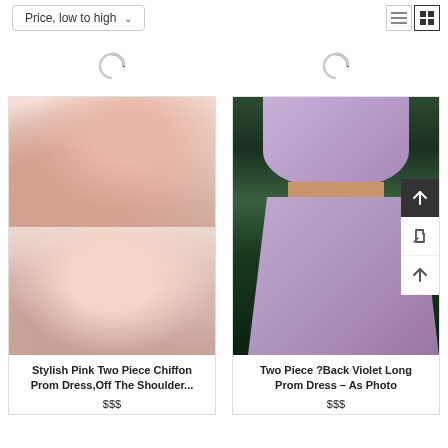Price, low to high
[Figure (photo): Stylish Pink Two Piece Chiffon Prom Dress product photo collage showing two models wearing a pink off-the-shoulder two-piece dress]
Stylish Pink Two Piece Chiffon Prom Dress,Off The Shoulder...
$$$
[Figure (photo): Two Piece V-Back Violet Long Prom Dress product photo showing model wearing lavender two-piece formal dress with high slit skirt]
Two Piece ?Back Violet Long Prom Dress – As Photo
$$$